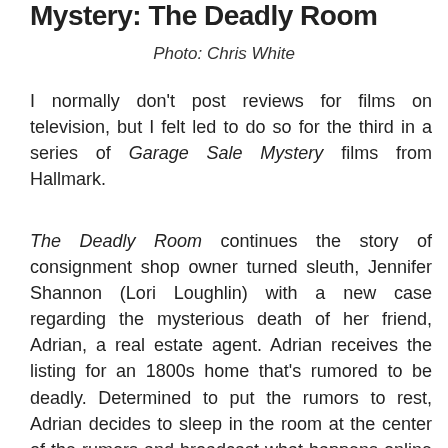Mystery: The Deadly Room
Photo: Chris White
I normally don't post reviews for films on television, but I felt led to do so for the third in a series of Garage Sale Mystery films from Hallmark.
The Deadly Room continues the story of consignment shop owner turned sleuth, Jennifer Shannon (Lori Loughlin) with a new case regarding the mysterious death of her friend, Adrian, a real estate agent. Adrian receives the listing for an 1800s home that's rumored to be deadly. Determined to put the rumors to rest, Adrian decides to sleep in the room at the center of the rumors and broadcast what happens online via webcam. Adrian doesn't survive the night and is found to have died from natural causes. Thinking something is not quite right with Adrian's death, she if prompted to...